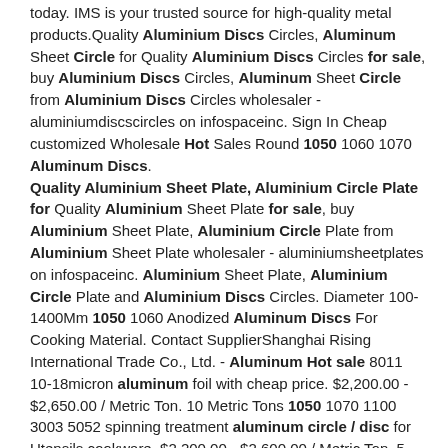today. IMS is your trusted source for high-quality metal products.Quality Aluminium Discs Circles, Aluminum Sheet Circle for Quality Aluminium Discs Circles for sale, buy Aluminium Discs Circles, Aluminum Sheet Circle from Aluminium Discs Circles wholesaler - aluminiumdiscscircles on infospaceinc. Sign In Cheap customized Wholesale Hot Sales Round 1050 1060 1070 Aluminum Discs. Quality Aluminium Sheet Plate, Aluminium Circle Plate for Quality Aluminium Sheet Plate for sale, buy Aluminium Sheet Plate, Aluminium Circle Plate from Aluminium Sheet Plate wholesaler - aluminiumsheetplates on infospaceinc. Aluminium Sheet Plate, Aluminium Circle Plate and Aluminium Discs Circles. Diameter 100-1400Mm 1050 1060 Anodized Aluminum Discs For Cooking Material. Contact SupplierShanghai Rising International Trade Co., Ltd. - Aluminum Hot sale 8011 10-18micron aluminum foil with cheap price. $2,200.00 - $2,650.00 / Metric Ton. 10 Metric Tons 1050 1070 1100 3003 5052 spinning treatment aluminum circle / disc for Utensils cookware. $2,200.00 - $2,600.00 / Metric Ton. 5 Metric Tons 1050 1060 1070 3003 hot rolled deep drawing aluminum circle / disc for cookware. $2,200Sorry, we have detected unusual traffic from your network. Sorry, we have detected unusual traffic from your network. Please slide to verify help help